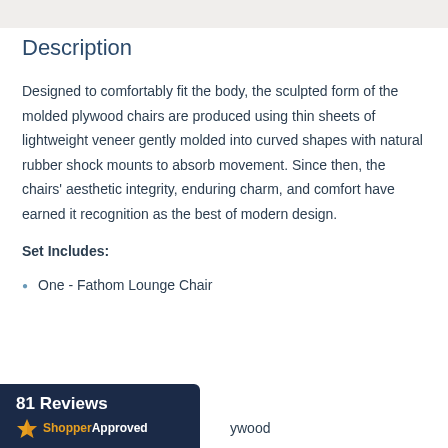Description
Designed to comfortably fit the body, the sculpted form of the molded plywood chairs are produced using thin sheets of lightweight veneer gently molded into curved shapes with natural rubber shock mounts to absorb movement. Since then, the chairs' aesthetic integrity, enduring charm, and comfort have earned it recognition as the best of modern design.
Set Includes:
One - Fathom Lounge Chair
[Figure (logo): Shopper Approved badge showing 81 Reviews with star icon and ShopperApproved branding on dark navy background]
ywood